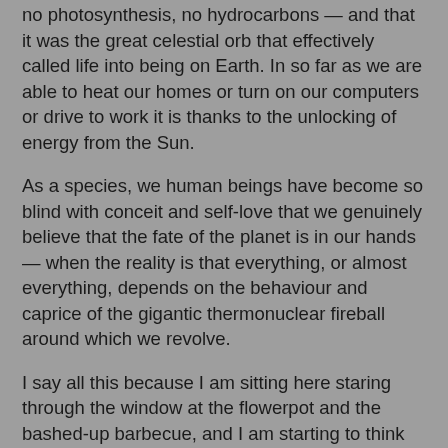no photosynthesis, no hydrocarbons — and that it was the great celestial orb that effectively called life into being on Earth. In so far as we are able to heat our homes or turn on our computers or drive to work it is thanks to the unlocking of energy from the Sun.
As a species, we human beings have become so blind with conceit and self-love that we genuinely believe that the fate of the planet is in our hands — when the reality is that everything, or almost everything, depends on the behaviour and caprice of the gigantic thermonuclear fireball around which we revolve.
I say all this because I am sitting here staring through the window at the flowerpot and the bashed-up barbecue, and I am starting to think this series of winters is not a coincidence. The snow on the flowerpot, since I have been staring, has got about an inch thicker. The barbecue is all but invisible. By my calculations, this is now the fifth year in a row that we have had an unusual amount of snow; and by unusual I mean snow of a kind that I don't remember from my childhood: snow that comes one day, and then sticks